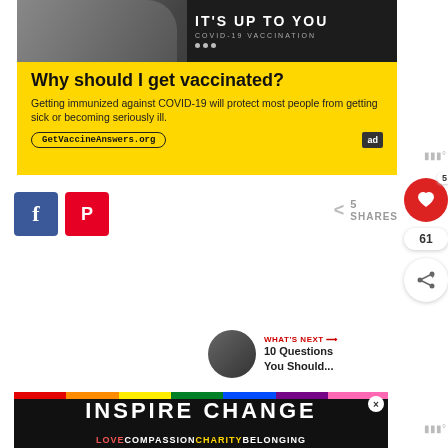[Figure (infographic): Ad for COVID-19 vaccination with man's photo at top, yellow background below with text 'Why should I get vaccinated?' and URL GetVaccineAnswers.org, ad council logo]
[Figure (infographic): Social share buttons: Facebook (blue) and Pinterest (red), plus share count area showing SHARES]
[Figure (infographic): Floating heart like button (red circle), count 61, and share+ button]
[Figure (infographic): What's Next section with thumbnail and '10 Questions You Should...' text]
[Figure (infographic): Bottom banner: INSPIRE CHANGE with rainbow strip and LOVE COMPASSION CHARITY BELONGING text]